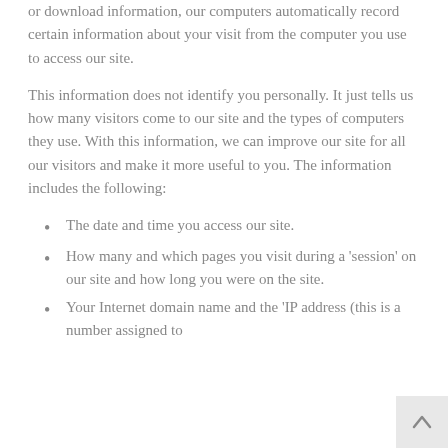or download information, our computers automatically record certain information about your visit from the computer you use to access our site.
This information does not identify you personally. It just tells us how many visitors come to our site and the types of computers they use. With this information, we can improve our site for all our visitors and make it more useful to you. The information includes the following:
The date and time you access our site.
How many and which pages you visit during a 'session' on our site and how long you were on the site.
Your Internet domain name and the 'IP address (this is a number assigned to